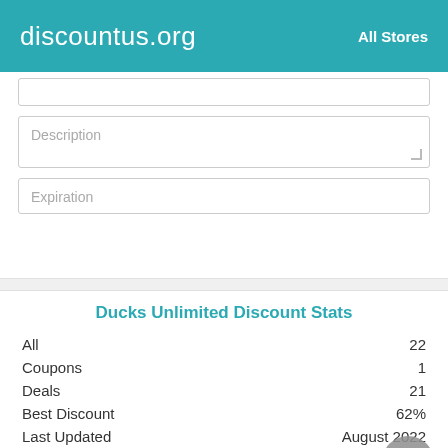discountus.org    All Stores
Description
Expiration
Ducks Unlimited Discount Stats
|  |  |
| --- | --- |
| All | 22 |
| Coupons | 1 |
| Deals | 21 |
| Best Discount | 62% |
| Last Updated | August 2022 |
Most Widely Used Ducks Unlimited Discount Codes